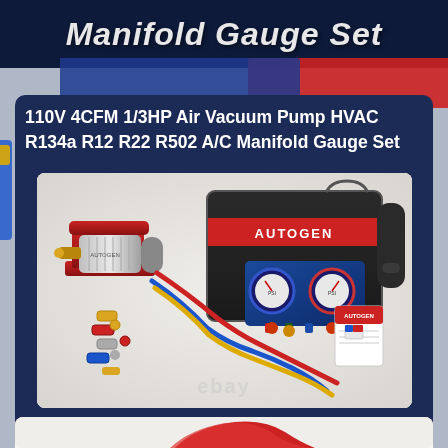Manifold Gauge Set
110V 4CFM 1/3HP Air Vacuum Pump HVAC R134a R12 R22 R502 A/C Manifold Gauge Set
[Figure (photo): Product photo showing an AUTOGEN branded kit including a red and silver air vacuum pump, a blue and red dual manifold gauge set, black carrying case with red AUTOGEN label, colored refrigerant hoses (red, blue, yellow), quick-connect couplings, and instruction manual. The ebay watermark is visible at the bottom.]
[Figure (photo): Partial view of another product photo at the bottom showing a red component, partially visible.]